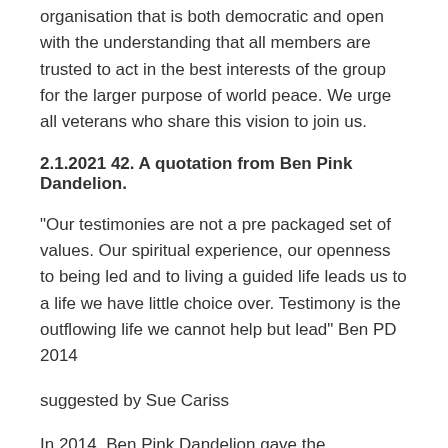organisation that is both democratic and open with the understanding that all members are trusted to act in the best interests of the group for the larger purpose of world peace. We urge all veterans who share this vision to join us.
2.1.2021 42. A quotation from Ben Pink Dandelion.
“Our testimonies are not a pre packaged set of values. Our spiritual experience, our openness to being led and to living a guided life leads us to a life we have little choice over. Testimony is the outflowing life we cannot help but lead” Ben PD 2014
suggested by Sue Cariss
In 2014, Ben Pink Dandelion gave the Swarthmore Lecture, which can be found on YouTube (audio only version available on Woodbrooke website).